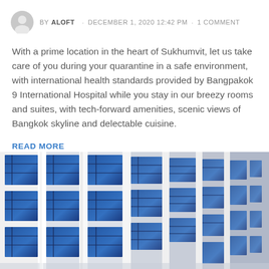BY ALOFT · DECEMBER 1, 2020 12:42 PM · 1 COMMENT
With a prime location in the heart of Sukhumvit, let us take care of you during your quarantine in a safe environment, with international health standards provided by Bangpakok 9 International Hospital while you stay in our breezy rooms and suites, with tech-forward amenities, scenic views of Bangkok skyline and delectable cuisine.
READ MORE
[Figure (photo): Exterior view of a modern hotel building with white facade and tall blue-tinted windows, photographed from a low angle against a blue sky.]